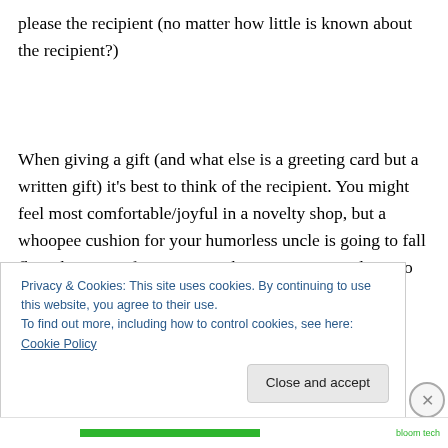please the recipient (no matter how little is known about the recipient?)
When giving a gift (and what else is a greeting card but a written gift) it's best to think of the recipient. You might feel most comfortable/joyful in a novelty shop, but a whoopee cushion for your humorless uncle is going to fall flat. The point of giving something to someone else is to think of
Privacy & Cookies: This site uses cookies. By continuing to use this website, you agree to their use.
To find out more, including how to control cookies, see here: Cookie Policy